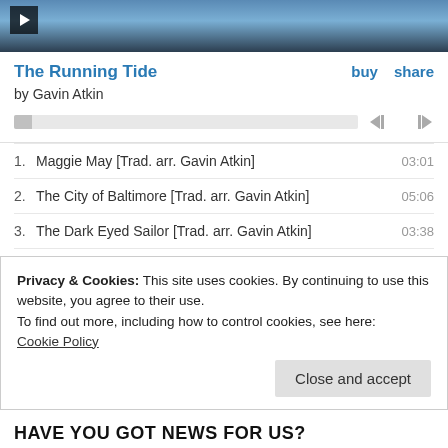[Figure (photo): Music album photo strip with play button overlay, shows partial image of a person with blue sky background]
The Running Tide
by Gavin Atkin
| # | Track | Duration |
| --- | --- | --- |
| 1. | Maggie May [Trad. arr. Gavin Atkin] | 03:01 |
| 2. | The City of Baltimore [Trad. arr. Gavin Atkin] | 05:06 |
| 3. | The Dark Eyed Sailor [Trad. arr. Gavin Atkin] | 03:38 |
| 4. | Go To Sea No More [Trad. arr. Gavin Atkin] | 04:28 |
| 5. | Jack Tar On Shore [Trad. arr. Gavin Atkin] | 02:55 |
Privacy & Cookies: This site uses cookies. By continuing to use this website, you agree to their use.
To find out more, including how to control cookies, see here:
Cookie Policy
Close and accept
HAVE YOU GOT NEWS FOR US?